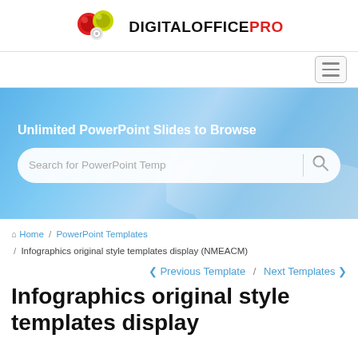[Figure (logo): DigitalOfficePro logo with colorful circular icons and bold text]
[Figure (screenshot): Navigation hamburger menu button]
[Figure (screenshot): Hero banner with gradient blue background, heading 'Unlimited PowerPoint Slides to Browse' and search bar with placeholder 'Search for PowerPoint Temp']
Home / PowerPoint Templates / Infographics original style templates display (NMEACM)
Previous Template / Next Templates
Infographics original style templates display